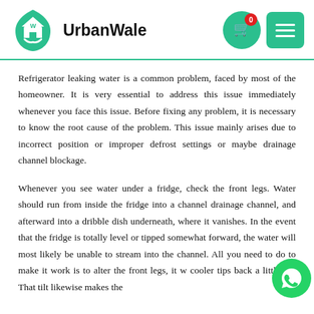UrbanWale
Refrigerator leaking water is a common problem, faced by most of the homeowner. It is very essential to address this issue immediately whenever you face this issue. Before fixing any problem, it is necessary to know the root cause of the problem. This issue mainly arises due to incorrect position or improper defrost settings or maybe drainage channel blockage.
Whenever you see water under a fridge, check the front legs. Water should run from inside the fridge into a channel drainage channel, and afterward into a dribble dish underneath, where it vanishes. In the event that the fridge is totally level or tipped somewhat forward, the water will most likely be unable to stream into the channel. All you need to do to make it work is to alter the front legs, it w... cooler tips back a little bit. That tilt likewise makes the ...y